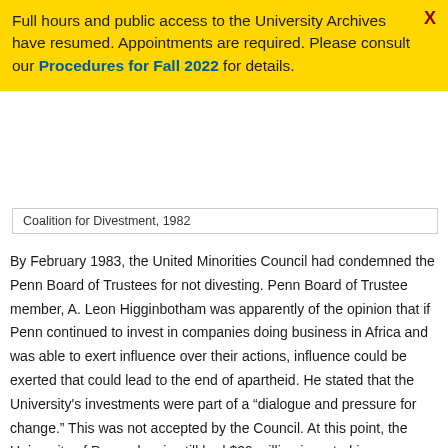Full hours and public access to the University Archives have resumed. Appointments are required. Please consult our Procedures for Fall 2022 for details.
Coalition for Divestment, 1982
By February 1983, the United Minorities Council had condemned the Penn Board of Trustees for not divesting. Penn Board of Trustee member, A. Leon Higginbotham was apparently of the opinion that if Penn continued to invest in companies doing business in Africa and was able to exert influence over their actions, influence could be exerted that could lead to the end of apartheid. He stated that the University's investments were part of a “dialogue and pressure for change.” This was not accepted by the Council. At this point, the University of Pennsylvania still had $29 million invested in companies in South